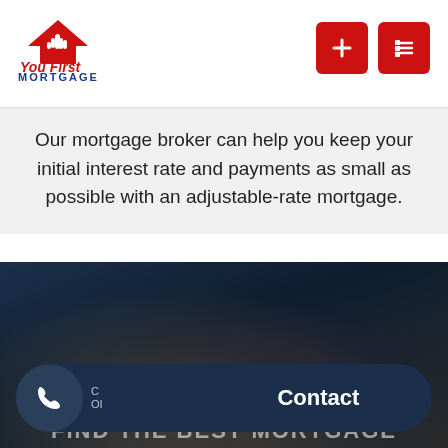[Figure (logo): You First Mortgage logo with house/hand icon, red text 'You First' and blue text 'MORTGAGE']
[Figure (other): Two red square navigation buttons - a plus/add button and a menu/list button]
Our mortgage broker can help you keep your initial interest rate and payments as small as possible with an adjustable-rate mortgage.
[Figure (photo): Dark blurred background photo of hands, with 'FIND THE BEST MORTGAGE' text at bottom and a Contact button overlay]
Contact